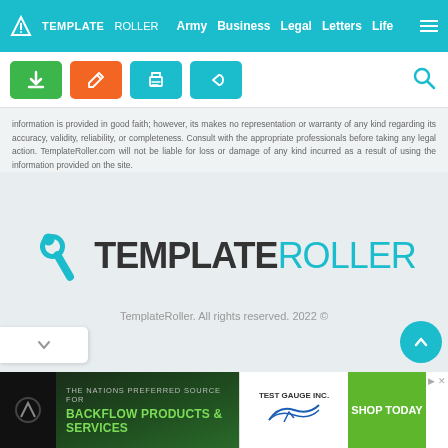TEMPLATEROLLER  Army  Business  Legal  Letters  Life
[Figure (screenshot): Toolbar with download (green), edit (orange), print (teal), share (teal) buttons and search icon]
information is provided in good faith; however, its makes no representation or warranty of any kind regarding its accuracy, validity, reliability, or completeness. Consult with the appropriate professionals before taking any legal action. TemplateRoller.com will not be liable for loss or damage of any kind incurred as a result of using the information provided on the site.
[Figure (logo): TemplateRoller logo with teal wrench/pencil icon and bold TEMPLATEROLLER text]
TemplateRoller. All rights reserved. 2022 ©
[Figure (screenshot): Advertisement banner for Test Gauge Inc. - THE NATIONS PREFERRED SOURCE FOR BACKFLOW PRODUCTS & SERVICES - SHOP TODAY]